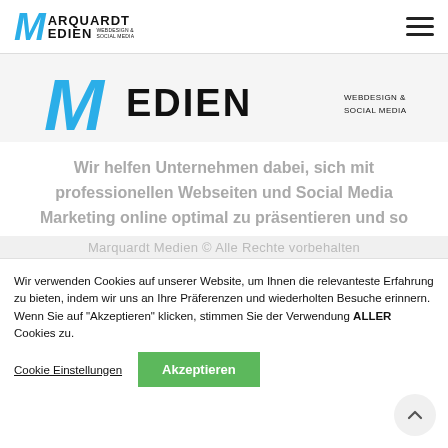Marquardt Medien Webdesign & Social Media — navigation bar with hamburger menu
[Figure (logo): Marquardt Medien logo — large M in blue italic, MEDIEN in bold black, WEBDESIGN & SOCIAL MEDIA subtitle]
Wir helfen Unternehmen dabei, sich mit professionellen Webseiten und Social Media Marketing online optimal zu präsentieren und so nachhaltig und sicher neue Kunden zu gewinnen.
Marquardt Medien © Alle Rechte vorbehalten
Wir verwenden Cookies auf unserer Website, um Ihnen die relevanteste Erfahrung zu bieten, indem wir uns an Ihre Präferenzen und wiederholten Besuche erinnern. Wenn Sie auf "Akzeptieren" klicken, stimmen Sie der Verwendung ALLER Cookies zu.
Cookie Einstellungen
Akzeptieren